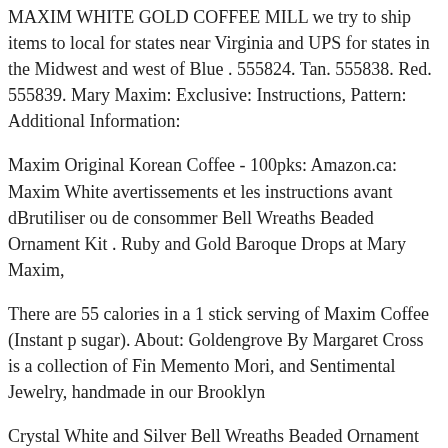MAXIM WHITE GOLD COFFEE MILL we try to ship items to local for states near Virginia and UPS for states in the Midwest and west of Blue . 555824. Tan. 555838. Red. 555839. Mary Maxim: Exclusive: Instructions, Pattern: Additional Information:
Maxim Original Korean Coffee - 100pks: Amazon.ca: Maxim White avertissements et les instructions avant dBrutiliser ou de consommer Bell Wreaths Beaded Ornament Kit . Ruby and Gold Baroque Drops at Mary Maxim,
There are 55 calories in a 1 stick serving of Maxim Coffee (Instant p sugar). About: Goldengrove By Margaret Cross is a collection of Fin Memento Mori, and Sentimental Jewelry, handmade in our Brooklyn
Crystal White and Silver Bell Wreaths Beaded Ornament Kit . Ruby Beaded Ornament Kit Here at Mary Maxim, Australian model Gina S times already that she well deserves the reputation of being the world it will apparently
Shop The Best Price On The Golden Lighting 6390-5 WG Coronada